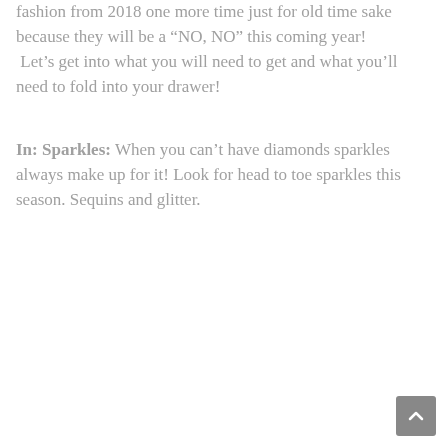fashion from 2018 one more time just for old time sake because they will be a “NO, NO” this coming year!  Let’s get into what you will need to get and what you’ll need to fold into your drawer!
In: Sparkles: When you can’t have diamonds sparkles always make up for it! Look for head to toe sparkles this season. Sequins and glitter.